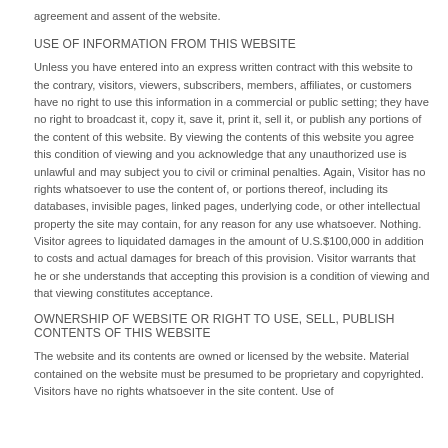agreement and assent of the website.
USE OF INFORMATION FROM THIS WEBSITE
Unless you have entered into an express written contract with this website to the contrary, visitors, viewers, subscribers, members, affiliates, or customers have no right to use this information in a commercial or public setting; they have no right to broadcast it, copy it, save it, print it, sell it, or publish any portions of the content of this website. By viewing the contents of this website you agree this condition of viewing and you acknowledge that any unauthorized use is unlawful and may subject you to civil or criminal penalties. Again, Visitor has no rights whatsoever to use the content of, or portions thereof, including its databases, invisible pages, linked pages, underlying code, or other intellectual property the site may contain, for any reason for any use whatsoever. Nothing. Visitor agrees to liquidated damages in the amount of U.S.$100,000 in addition to costs and actual damages for breach of this provision. Visitor warrants that he or she understands that accepting this provision is a condition of viewing and that viewing constitutes acceptance.
OWNERSHIP OF WEBSITE OR RIGHT TO USE, SELL, PUBLISH CONTENTS OF THIS WEBSITE
The website and its contents are owned or licensed by the website. Material contained on the website must be presumed to be proprietary and copyrighted. Visitors have no rights whatsoever in the site content. Use of